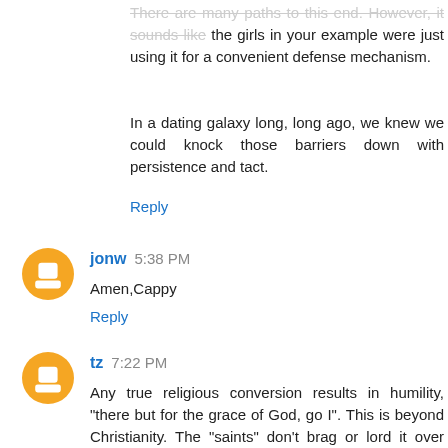There are many paths to this end. However, it sounds like the girls in your example were just using it for a convenient defense mechanism.
In a dating galaxy long, long ago, we knew we could knock those barriers down with persistence and tact.
Reply
jonw  5:38 PM
Amen,Cappy
Reply
tz  7:22 PM
Any true religious conversion results in humility, "there but for the grace of God, go I". This is beyond Christianity. The "saints" don't brag or lord it over others, but are content, peaceful, and even if a Shao Lin monk who can whip your ass, try to enlighten you with words.